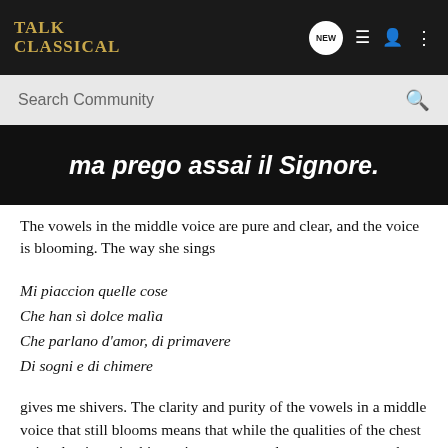TALK CLASSICAL
[Figure (screenshot): Search bar with 'Search Community' placeholder text and magnifying glass icon on dark grey background]
[Figure (photo): Dark image with white italic text reading 'ma prego assai il Signore.']
The vowels in the middle voice are pure and clear, and the voice is blooming. The way she sings
Mi piaccion quelle cose
Che han sì dolce malìa
Che parlano d'amor, di primavere
Di sogni e di chimere
gives me shivers. The clarity and purity of the vowels in a middle voice that still blooms means that while the qualities of the chest voice dominate in this tessitura, or are at least more present than in the high register, the falsetto action is still there, but does not have enough impact as to alter the vowels. It has